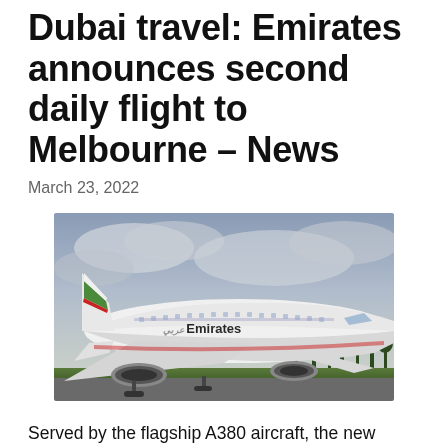Dubai travel: Emirates announces second daily flight to Melbourne – News
March 23, 2022
[Figure (photo): Emirates Airlines A380 aircraft on a runway with overcast sky and trees in background. The large white aircraft displays the Emirates logo and livery with the distinctive tail fin in green, red, and white.]
Served by the flagship A380 aircraft, the new addition will provide more than 1,000 seats a day to the Victorian capital File Published: Wed 23 Mar 2022, 12:03 PM Starting May 1,